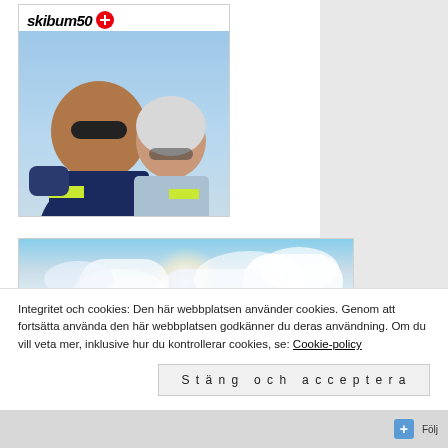[Figure (photo): Profile/avatar card for 'skibum50' blog with logo at top (italic bold text 'skibum50' with red circle Swiss-cross badge) and selfie photo of two people in ski gear (sunglasses, ski goggles, helmets) with blue sky background]
[Figure (photo): Landscape photo card showing snowy winter mountain scene with bright sun, dramatic clouds, snow-covered slopes, and distant dark tree silhouettes on the horizon]
Integritet och cookies: Den här webbplatsen använder cookies. Genom att fortsätta använda den här webbplatsen godkänner du deras användning. Om du vill veta mer, inklusive hur du kontrollerar cookies, se: Cookie-policy
Stäng och acceptera